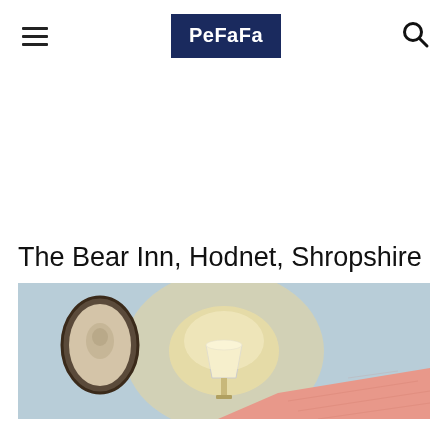PeFaFa
The Bear Inn, Hodnet, Shropshire
[Figure (photo): Hotel bedroom photo showing a wall-mounted lamp with a white shade glowing warmly, an oval framed picture/relief on the light blue wall to the left, and a pink/coral textured bedspread in the lower right corner.]